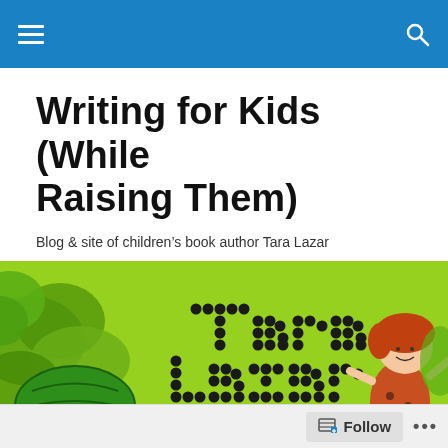Navigation bar with hamburger menu and search icon
Writing for Kids (While Raising Them)
Blog & site of children's book author Tara Lazar
[Figure (illustration): Tara Lazar banner illustration with green background, watermelon, garden plants, and a cartoon girl with red hair. 'Tara Lazar' written in dotted/spotted letters.]
HOW TO RETURN A MONSTER Cover Reveal (plus a
Follow ...